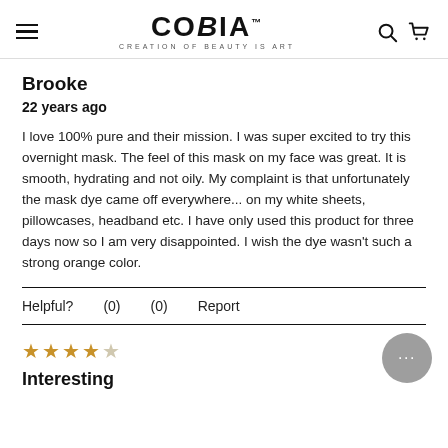COBIA — CREATION OF BEAUTY IS ART
Brooke
22 years ago
I love 100% pure and their mission. I was super excited to try this overnight mask. The feel of this mask on my face was great. It is smooth, hydrating and not oily. My complaint is that unfortunately the mask dye came off everywhere... on my white sheets, pillowcases, headband etc. I have only used this product for three days now so I am very disappointed. I wish the dye wasn't such a strong orange color.
Helpful?   (0)   (0)   Report
[Figure (other): 4-star rating (4 out of 5 stars filled in gold)]
Interesting